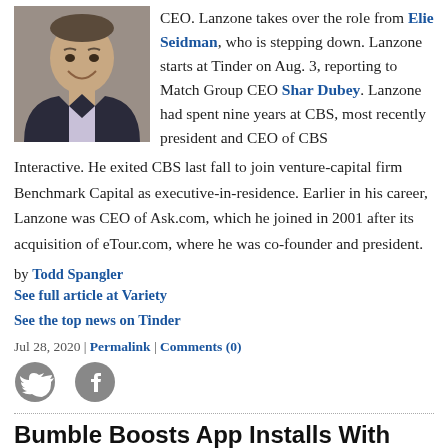[Figure (photo): Headshot of a smiling man in a suit jacket, professional portrait photo]
CEO. Lanzone takes over the role from Elie Seidman, who is stepping down. Lanzone starts at Tinder on Aug. 3, reporting to Match Group CEO Shar Dubey. Lanzone had spent nine years at CBS, most recently president and CEO of CBS Interactive. He exited CBS last fall to join venture-capital firm Benchmark Capital as executive-in-residence. Earlier in his career, Lanzone was CEO of Ask.com, which he joined in 2001 after its acquisition of eTour.com, where he was co-founder and president.
by Todd Spangler
See full article at Variety
See the top news on Tinder
Jul 28, 2020 | Permalink | Comments (0)
[Figure (illustration): Twitter bird icon (circular grey social media icon)]
[Figure (illustration): Facebook 'f' icon (circular grey social media icon)]
Bumble Boosts App Installs With Direct